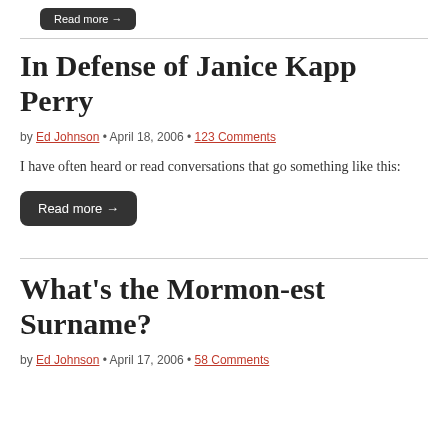[Figure (other): Dark rounded button reading 'Read more →']
In Defense of Janice Kapp Perry
by Ed Johnson • April 18, 2006 • 123 Comments
I have often heard or read conversations that go something like this:
[Figure (other): Dark rounded button reading 'Read more →']
What's the Mormon-est Surname?
by Ed Johnson • April 17, 2006 • 58 Comments